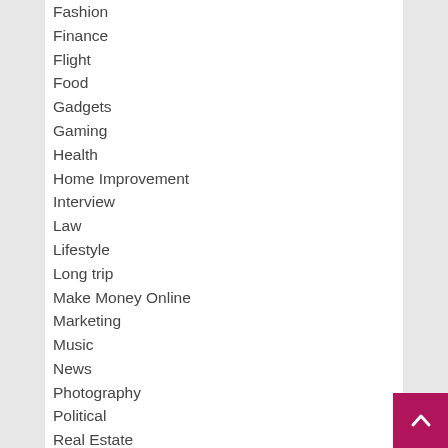Fashion
Finance
Flight
Food
Gadgets
Gaming
Health
Home Improvement
Interview
Law
Lifestyle
Long trip
Make Money Online
Marketing
Music
News
Photography
Political
Real Estate